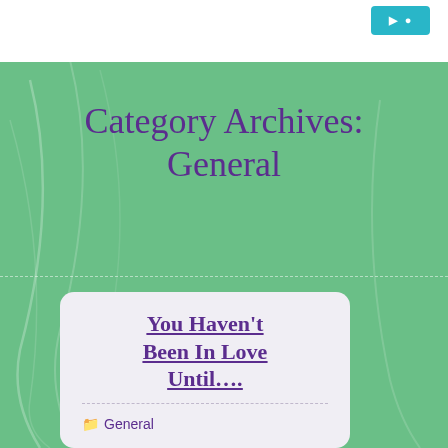Category Archives: General
You Haven't Been In Love Until....
General